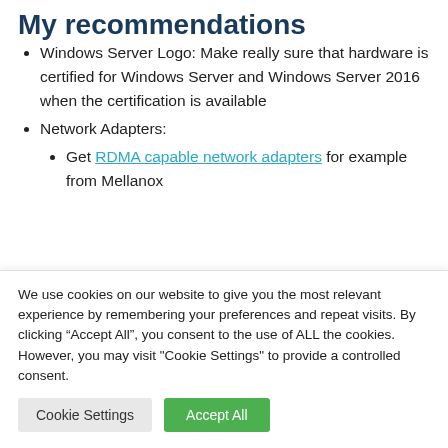My recommendations
Windows Server Logo: Make really sure that hardware is certified for Windows Server and Windows Server 2016 when the certification is available
Network Adapters:
Get RDMA capable network adapters for example from Mellanox
We use cookies on our website to give you the most relevant experience by remembering your preferences and repeat visits. By clicking “Accept All”, you consent to the use of ALL the cookies. However, you may visit "Cookie Settings" to provide a controlled consent.
Cookie Settings | Accept All